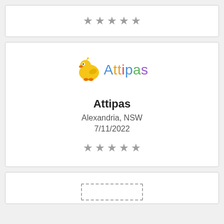[Figure (other): Five grey star rating icons displayed in a row (top card, partially visible)]
[Figure (logo): Attipas brand logo with cartoon duck character and colorful text spelling Attipas]
Attipas
Alexandria, NSW
7/11/2022
[Figure (other): Five grey star rating icons displayed in a row]
[Figure (other): Bottom of third card partially visible with a dashed rectangle box]